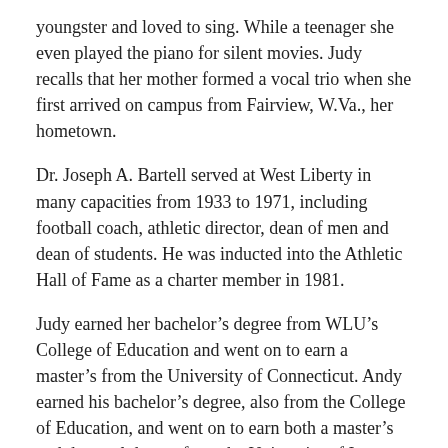youngster and loved to sing. While a teenager she even played the piano for silent movies. Judy recalls that her mother formed a vocal trio when she first arrived on campus from Fairview, W.Va., her hometown.
Dr. Joseph A. Bartell served at West Liberty in many capacities from 1933 to 1971, including football coach, athletic director, dean of men and dean of students. He was inducted into the Athletic Hall of Fame as a charter member in 1981.
Judy earned her bachelor's degree from WLU's College of Education and went on to earn a master's from the University of Connecticut. Andy earned his bachelor's degree, also from the College of Education, and went on to earn both a master's and doctoral degree from the University of Iowa.
Judy's mom was an elementary school teacher and